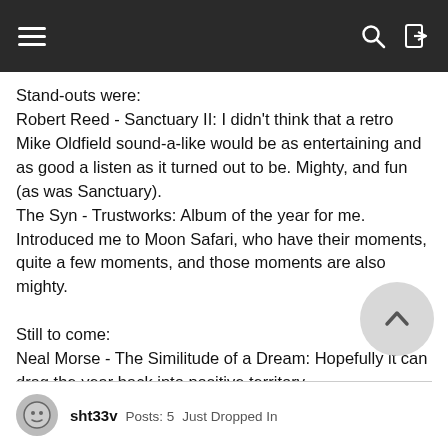Navigation bar with hamburger menu, search, and login icons
Stand-outs were:
Robert Reed - Sanctuary II: I didn't think that a retro Mike Oldfield sound-a-like would be as entertaining and as good a listen as it turned out to be. Mighty, and fun (as was Sanctuary).
The Syn - Trustworks: Album of the year for me. Introduced me to Moon Safari, who have their moments, quite a few moments, and those moments are also mighty.

Still to come:
Neal Morse - The Similitude of a Dream: Hopefully it can drag the year back into positive territory
sht33v  Posts: 5  Just Dropped In